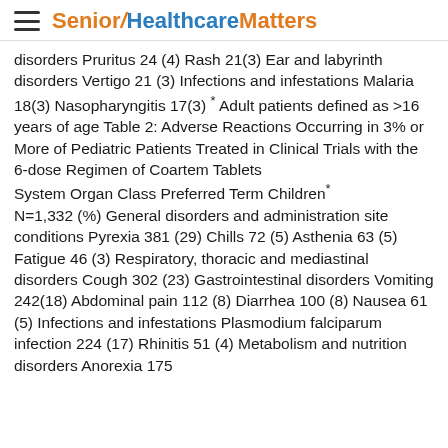Senior Healthcare Matters
disorders Pruritus 24 (4) Rash 21(3) Ear and labyrinth disorders Vertigo 21 (3) Infections and infestations Malaria 18(3) Nasopharyngitis 17(3) * Adult patients defined as >16 years of age Table 2: Adverse Reactions Occurring in 3% or More of Pediatric Patients Treated in Clinical Trials with the 6-dose Regimen of Coartem Tablets System Organ Class Preferred Term Children* N=1,332 (%) General disorders and administration site conditions Pyrexia 381 (29) Chills 72 (5) Asthenia 63 (5) Fatigue 46 (3) Respiratory, thoracic and mediastinal disorders Cough 302 (23) Gastrointestinal disorders Vomiting 242(18) Abdominal pain 112 (8) Diarrhea 100 (8) Nausea 61 (5) Infections and infestations Plasmodium falciparum infection 224 (17) Rhinitis 51 (4) Metabolism and nutrition disorders Anorexia 175 (...)